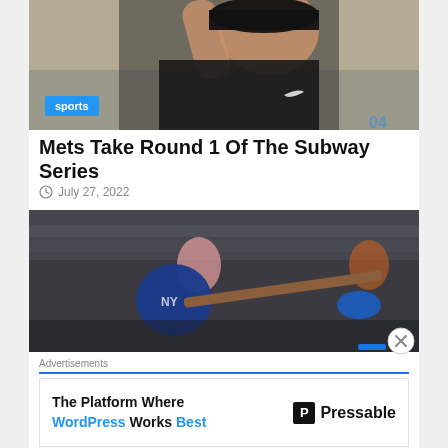[Figure (photo): Baseball pitcher in black uniform raising arm, looking upward]
Mets Take Round 1 Of The Subway Series
July 27, 2022
[Figure (photo): Baseball batter in blue Mets helmet swinging at a pitch, crowd in background]
Advertisements
The Platform Where WordPress Works Best